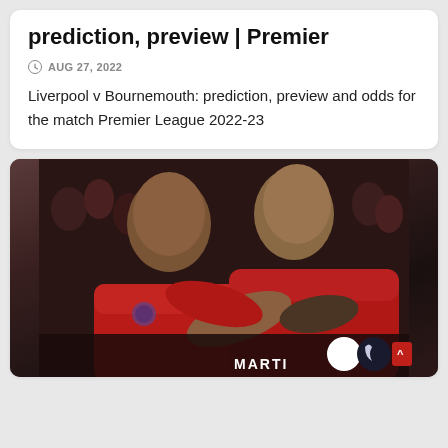prediction, preview | Premier
AUG 27, 2022
Liverpool v Bournemouth: prediction, preview and odds for the match Premier League 2022-23
[Figure (photo): Two football players in red jerseys hugging/celebrating, Premier League context, crowd in background]